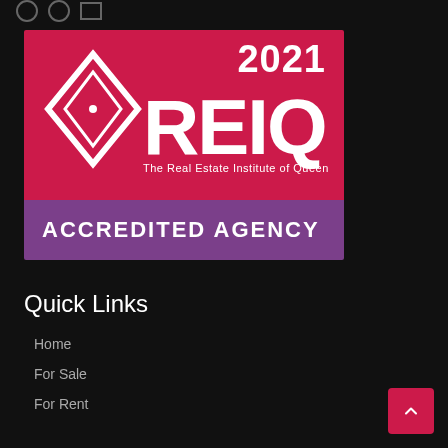[Figure (logo): REIQ 2021 Accredited Agency badge. Red background with white diamond logo and REIQ text, purple bottom band with ACCREDITED AGENCY text.]
Quick Links
Home
For Sale
For Rent